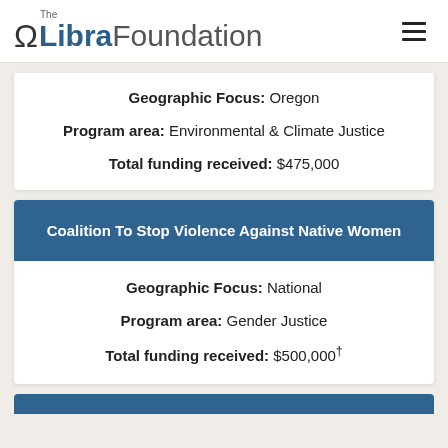The Libra Foundation
Geographic Focus: Oregon
Program area: Environmental & Climate Justice
Total funding received: $475,000
Coalition To Stop Violence Against Native Women
Geographic Focus: National
Program area: Gender Justice
Total funding received: $500,000†